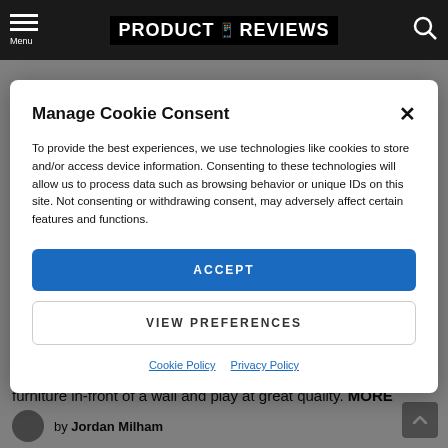PRODUCT REVIEWS — Navigation bar with menu, logo, and search
Manage Cookie Consent
To provide the best experiences, we use technologies like cookies to store and/or access device information. Consenting to these technologies will allow us to process data such as browsing behavior or unique IDs on this site. Not consenting or withdrawing consent, may adversely affect certain features and functions.
ACCEPT
VIEW PREFERENCES
Cookie Policy  Privacy Policy
furniture in-front of a wall and play at great quality. MORE
by Jordan Milham